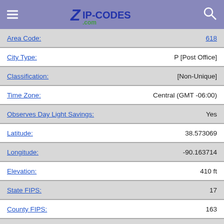Zip-Codes.com
| Field | Value |
| --- | --- |
| Area Code: | 618 |
| City Type: | P [Post Office] |
| Classification: | [Non-Unique] |
| Time Zone: | Central (GMT -06:00) |
| Observes Day Light Savings: | Yes |
| Latitude: | 38.573069 |
| Longitude: | -90.163714 |
| Elevation: | 410 ft |
| State FIPS: | 17 |
| County FIPS: | 163 |
| Region: | Midwest |
| Division: | East North Central |